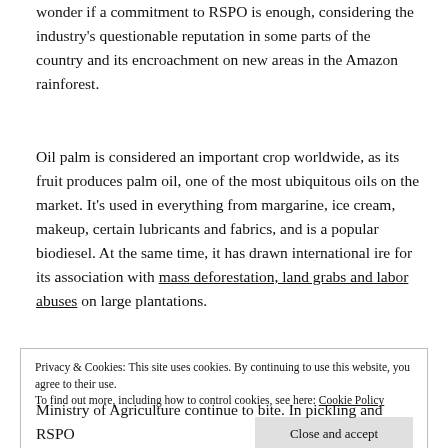wonder if a commitment to RSPO is enough, considering the industry's questionable reputation in some parts of the country and its encroachment on new areas in the Amazon rainforest.
Oil palm is considered an important crop worldwide, as its fruit produces palm oil, one of the most ubiquitous oils on the market. It's used in everything from margarine, ice cream, makeup, certain lubricants and fabrics, and is a popular biodiesel. At the same time, it has drawn international ire for its association with mass deforestation, land grabs and labor abuses on large plantations.
Privacy & Cookies: This site uses cookies. By continuing to use this website, you agree to their use.
To find out more, including how to control cookies, see here: Cookie Policy
[Close and accept]
Ministry of Agriculture continue to bite. In pickling and RSPO